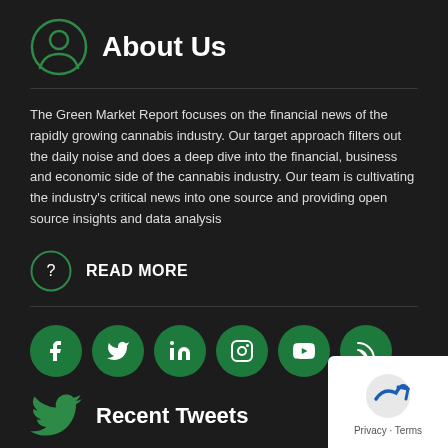About Us
The Green Market Report focuses on the financial news of the rapidly growing cannabis industry. Our target approach filters out the daily noise and does a deep dive into the financial, business and economic side of the cannabis industry. Our team is cultivating the industry's critical news into one source and providing open source insights and data analysis
READ MORE
[Figure (other): Social media icons: Facebook, Twitter, LinkedIn, Instagram, YouTube, RSS feed — all in green circles]
Recent Tweets